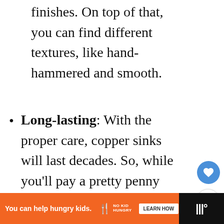finishes. On top of that, you can find different textures, like hand-hammered and smooth.
Long-lasting: With the proper care, copper sinks will last decades. So, while you’ll pay a pretty penny (no pun intended) for the sink, it’ll last a long time.
Sanitary: Copper is naturally antibacterial, as it boasts antimicrobial properties. Although it sound fetched, it has been proven!